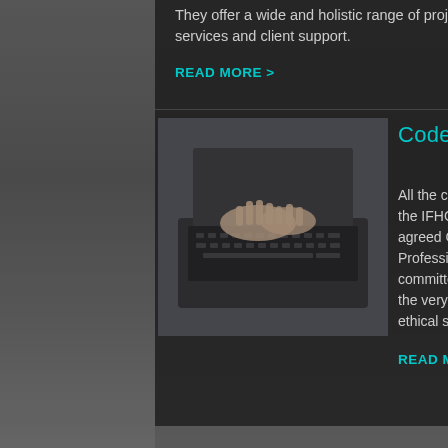They offer a wide and holistic range of project services and client support.
READ MORE >
[Figure (photo): Person's hands typing on a laptop keyboard, close-up photo in muted tones]
Code of conduct
All the consultants who feature on the IFHC website not only follow the agreed Code of Conduct and Professional Ethics but are also committed to delivering their work to the very highest knowledge and ethical standards.
READ MORE >